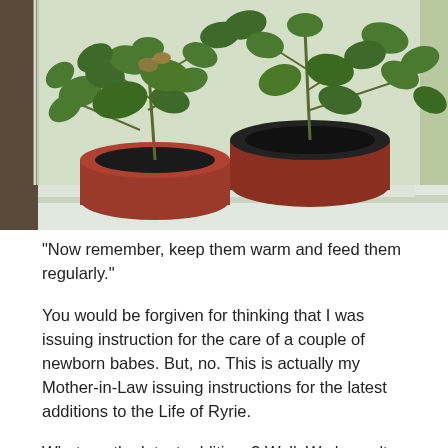[Figure (photo): Photo of tomato plants in red/dark pots on a windowsill, green leafy plants visible against a window background]
“Now remember, keep them warm and feed them regularly.”
You would be forgiven for thinking that I was issuing instruction for the care of a couple of newborn babes.  But, no.  This is actually my Mother-in-Law issuing instructions for the latest additions to the Life of Ryrie.
What are the latest additions?  Well.  We haven’t